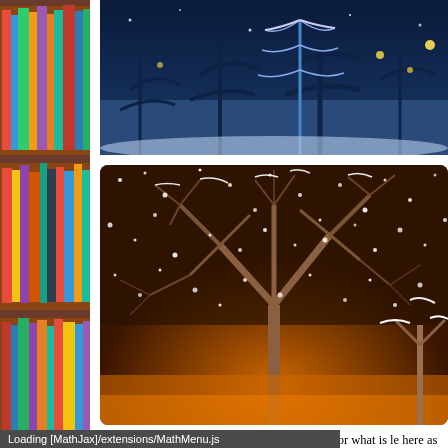[Figure (photo): Bookshelf with colorful books on wooden shelves, left side column]
[Figure (photo): Snowy winter night scene with blue-lit trees, top right photo]
[Figure (photo): Night photo of snow falling on bare tree branches with orange city lights below]
A clear night shot just after sunset where blue (or what is le here as it looked to the eyes! Also, the Image Stabilizatio
Loading [MathJax]/extensions/MathMenu.js